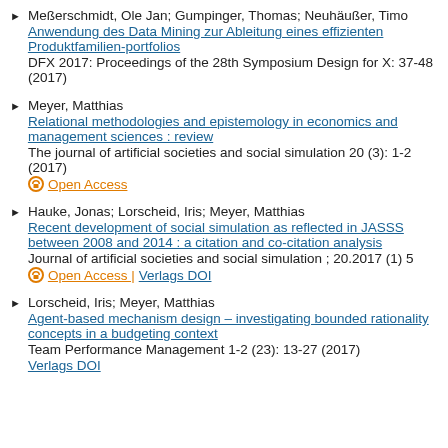Meßerschmidt, Ole Jan; Gumpinger, Thomas; Neuhäußer, Timo
Anwendung des Data Mining zur Ableitung eines effizienten Produktfamilien-portfolios
DFX 2017: Proceedings of the 28th Symposium Design for X: 37-48 (2017)
Meyer, Matthias
Relational methodologies and epistemology in economics and management sciences : review
The journal of artificial societies and social simulation 20 (3): 1-2 (2017)
Open Access
Hauke, Jonas; Lorscheid, Iris; Meyer, Matthias
Recent development of social simulation as reflected in JASSS between 2008 and 2014 : a citation and co-citation analysis
Journal of artificial societies and social simulation ; 20.2017 (1) 5
Open Access | Verlags DOI
Lorscheid, Iris; Meyer, Matthias
Agent-based mechanism design – investigating bounded rationality concepts in a budgeting context
Team Performance Management 1-2 (23): 13-27 (2017)
Verlags DOI